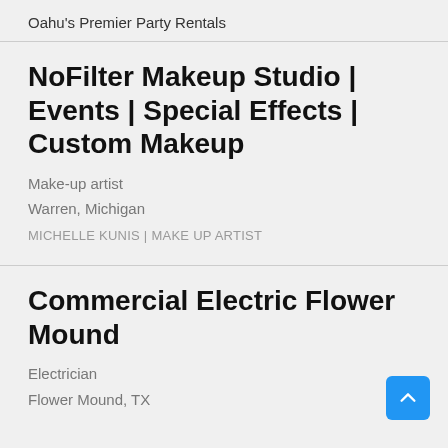Oahu's Premier Party Rentals
NoFilter Makeup Studio | Events | Special Effects | Custom Makeup
Make-up artist
Warren, Michigan
MICHELLE KUNIS | MAKE UP ARTIST
Commercial Electric Flower Mound
Electrician
Flower Mound, TX